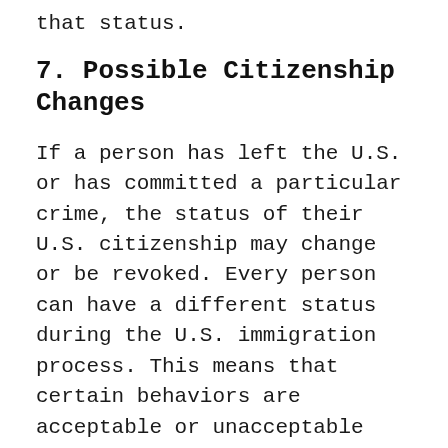that status.
7. Possible Citizenship Changes
If a person has left the U.S. or has committed a particular crime, the status of their U.S. citizenship may change or be revoked. Every person can have a different status during the U.S. immigration process. This means that certain behaviors are acceptable or unacceptable for particular prospective immigrants. Hopeful U.S. immigrants must remain cognizant of their status and know what is permitted of them during the immigration process as it would be unfortunate for a prospective immigrant to do something unknowingly that would cause their